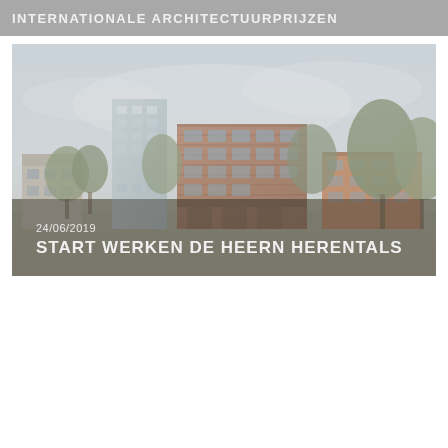INTERNATIONALE ARCHITECTUURPRIJZEN
[Figure (photo): Architectural rendering of De Heern residential development in Herentals, showing modern multi-storey brick and glass apartment buildings surrounded by trees under a light sky. Date overlay: 24/06/2019. Title overlay: START WERKEN DE HEERN HERENTALS]